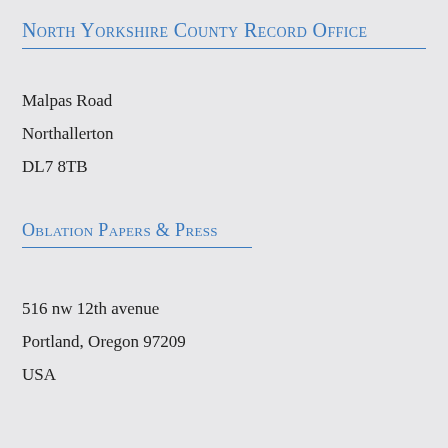North Yorkshire County Record Office
Malpas Road
Northallerton
DL7 8TB
Oblation Papers & Press
516 nw 12th avenue
Portland, Oregon 97209
USA